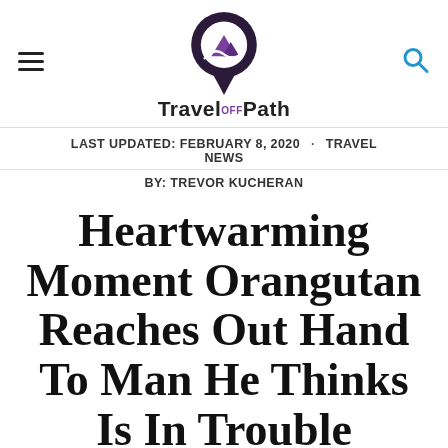TravelOffPath
LAST UPDATED: FEBRUARY 8, 2020 · TRAVEL NEWS
BY: TREVOR KUCHERAN
Heartwarming Moment Orangutan Reaches Out Hand To Man He Thinks Is In Trouble